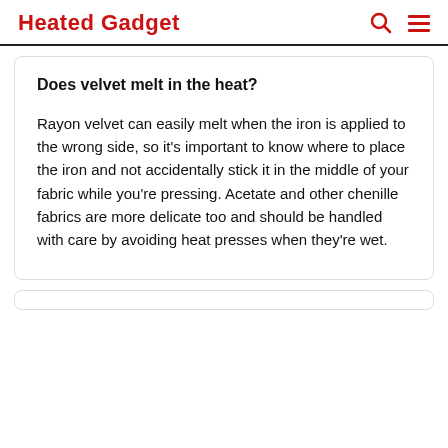Heated Gadget
Does velvet melt in the heat?
Rayon velvet can easily melt when the iron is applied to the wrong side, so it's important to know where to place the iron and not accidentally stick it in the middle of your fabric while you're pressing. Acetate and other chenille fabrics are more delicate too and should be handled with care by avoiding heat presses when they're wet.